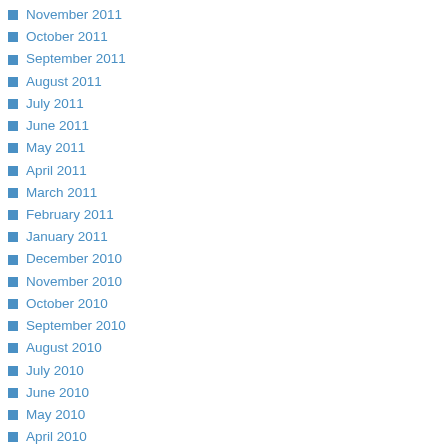November 2011
October 2011
September 2011
August 2011
July 2011
June 2011
May 2011
April 2011
March 2011
February 2011
January 2011
December 2010
November 2010
October 2010
September 2010
August 2010
July 2010
June 2010
May 2010
April 2010
March 2010
February 2010
January 2010
December 2009
November 2009